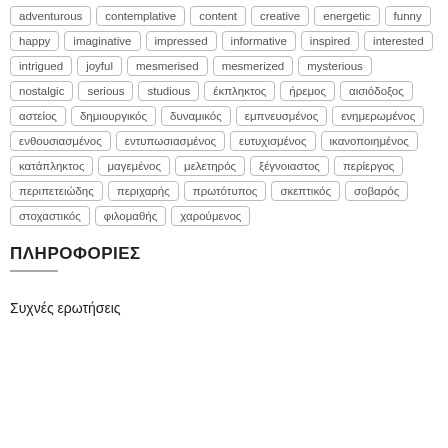adventurous, contemplative, content, creative, energetic, funny, happy, imaginative, impressed, informative, inspired, interested, intrigued, joyful, mesmerised, mesmerized, mysterious, nostalgic, serious, studious, έκπληκτος, ήρεμος, αισιόδοξος, αστείος, δημιουργικός, δυναμικός, εμπνευσμένος, ενημερωμένος, ενθουσιασμένος, εντυπωσιασμένος, ευτυχισμένος, ικανοποιημένος, κατάπληκτος, μαγεμένος, μελετηρός, ξέγνοιαστος, περίεργος, περιπετειώδης, περιχαρής, πρωτότυπος, σκεπτικός, σοβαρός, στοχαστικός, φιλομαθής, χαρούμενος
ΠΛΗΡΟΦΟΡΙΕΣ
Συχνές ερωτήσεις